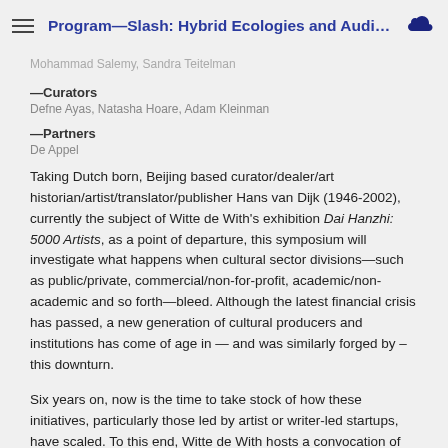Program—Slash: Hybrid Ecologies and Audience...
Mohammad Salemy, Sandra Teitelman
—Curators
Defne Ayas, Natasha Hoare, Adam Kleinman
—Partners
De Appel
Taking Dutch born, Beijing based curator/dealer/art historian/artist/translator/publisher Hans van Dijk (1946-2002), currently the subject of Witte de With's exhibition Dai Hanzhi: 5000 Artists, as a point of departure, this symposium will investigate what happens when cultural sector divisions—such as public/private, commercial/non-for-profit, academic/non-academic and so forth—bleed. Although the latest financial crisis has passed, a new generation of cultural producers and institutions has come of age in — and was similarly forged by – this downturn.
Six years on, now is the time to take stock of how these initiatives, particularly those led by artist or writer-led startups, have scaled. To this end, Witte de With hosts a convocation of artists, thinkers, and producers currently engaged in these newer platforms—spanning artistic practice, exhibition and institution making, education, publishing, and others—to discuss how novel, and at times heterodox, modes of address